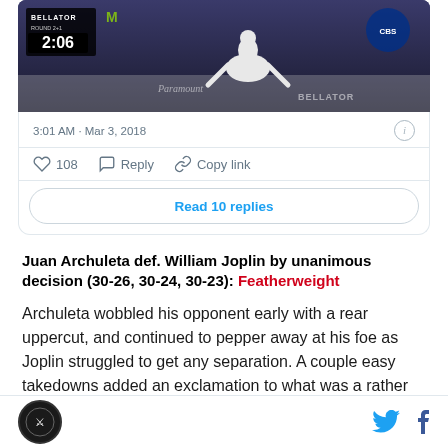[Figure (screenshot): Bellator MMA video screenshot showing a fighter in a white outfit on the mat, with a timer showing 2:06, Bellator branding, and Paramount Network watermark]
3:01 AM · Mar 3, 2018
108  Reply  Copy link
Read 10 replies
Juan Archuleta def. William Joplin by unanimous decision (30-26, 30-24, 30-23): Featherweight
Archuleta wobbled his opponent early with a rear uppercut, and continued to pepper away at his foe as Joplin struggled to get any separation. A couple easy takedowns added an exclamation to what was a rather
Logo | Twitter | Facebook